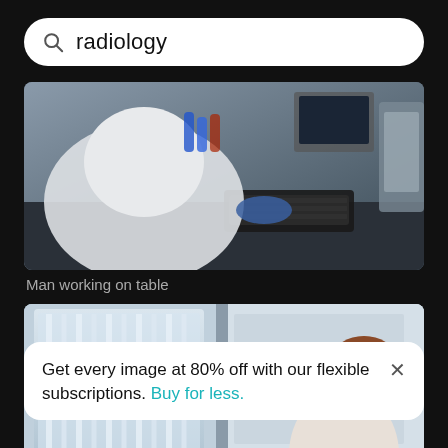radiology
[Figure (photo): Man in white lab coat working at a computer workstation, viewed from behind, with keyboard and monitor visible; blue-lit lab equipment in background]
Man working on table
[Figure (photo): Man in white turtleneck sweater using a laptop in an industrial/laboratory setting with large automated machinery with glass panels behind him]
Get every image at 80% off with our flexible subscriptions. Buy for less.